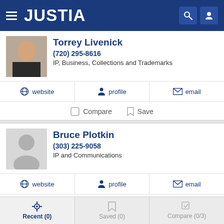JUSTIA
Torrey Livenick
(720) 295-8616
IP, Business, Collections and Trademarks
website  profile  email
Compare  Save
Bruce Plotkin
(303) 225-9058
IP and Communications
website  profile  email
Compare  Save
Recent (0)  Saved (0)  Compare (0/3)